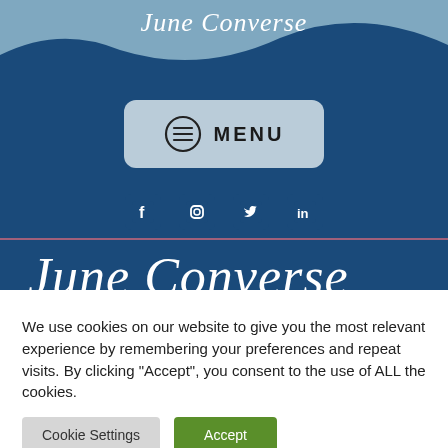[Figure (illustration): Website header with wave background in light and dark blue, script logo 'June Converse', menu button, social media icons (Facebook, Instagram, Twitter, LinkedIn), and large script 'June Converse' text]
We use cookies on our website to give you the most relevant experience by remembering your preferences and repeat visits. By clicking "Accept", you consent to the use of ALL the cookies.
Cookie Settings  Accept